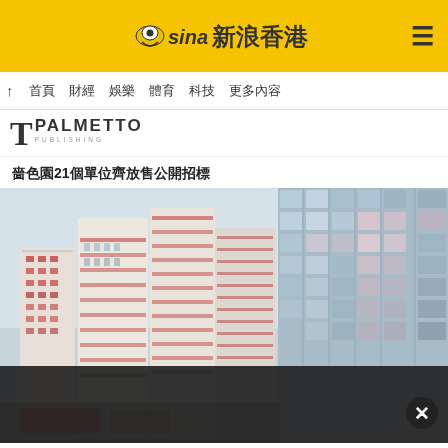Sina 新浪香港
↑ 首頁 財經 娛樂 體育 科技 生活 更多內容
[Figure (logo): T Palmetto Publishing logo]
嗇色園21個單位齊放售公開招標
[Figure (photo): Photo of Hong Kong residential high-rise buildings viewed from below showing tall white and red buildings against a cloudy sky with a modern glass tower on the right side. Dark overlay at the bottom with a close/X button.]